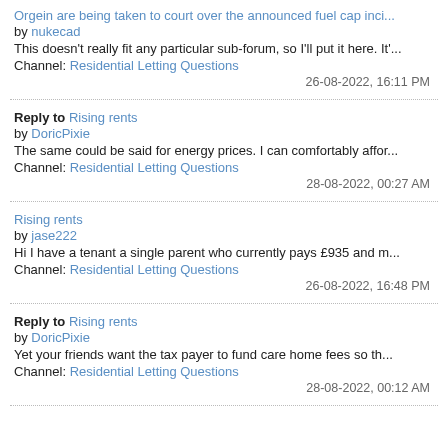Orgein are being taken to court over the announced fuel cap inci... by nukecad
This doesn't really fit any particular sub-forum, so I'll put it here. It'...
Channel: Residential Letting Questions
26-08-2022, 16:11 PM
Reply to Rising rents by DoricPixie
The same could be said for energy prices. I can comfortably affor...
Channel: Residential Letting Questions
28-08-2022, 00:27 AM
Rising rents by jase222
Hi I have a tenant a single parent who currently pays £935 and m...
Channel: Residential Letting Questions
26-08-2022, 16:48 PM
Reply to Rising rents by DoricPixie
Yet your friends want the tax payer to fund care home fees so th...
Channel: Residential Letting Questions
28-08-2022, 00:12 AM